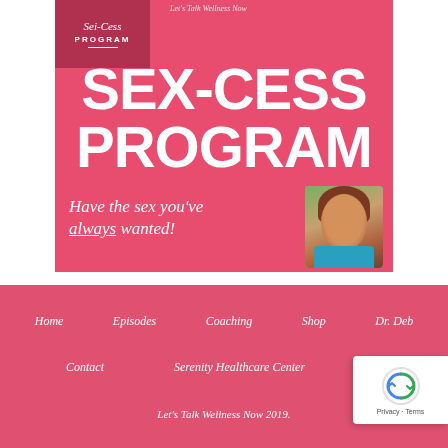[Figure (illustration): Sex-Cess Program promotional banner with pink/red background, large white bold text 'SEX-CESS PROGRAM', script tagline 'Have the sex you've always wanted!', portrait photo of a woman with curly brown hair wearing a blue top, and a small logo box in top-left corner.]
Home    Episodes    Coaching    Shop    Dr. Deb
Contact    Serenity Healthcare Center
Let's Talk Wellness Now 2019.